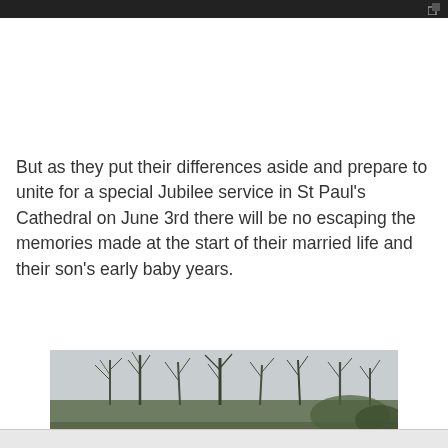But as they put their differences aside and prepare to unite for a special Jubilee service in St Paul's Cathedral on June 3rd there will be no escaping the memories made at the start of their married life and their son's early baby years.
[Figure (photo): Outdoor photograph showing bare winter trees against an overcast sky]